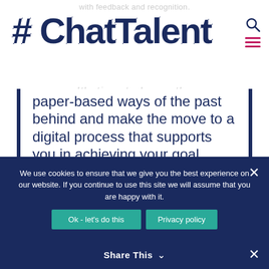#ChatTalent
with feedback and recognition.
It's time to leave the paper-based ways of the past behind and make the move to a digital process that supports you in achieving your goal
THURSDAY, 15th OCTOBER @
We use cookies to ensure that we give you the best experience on our website. If you continue to use this site we will assume that you are happy with it.
Ok - let's do this  |  Privacy policy
Share This